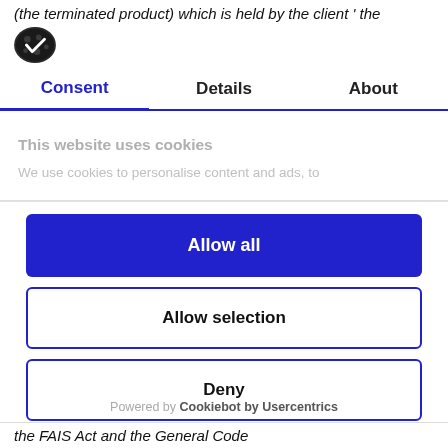(the terminated product) which is held by the client ' the
[Figure (logo): Cookiebot cookie logo — dark oval with white checkmark]
Consent | Details | About
This website uses cookies
We use cookies to personalise content and ads, to
Allow all
Allow selection
Deny
Powered by Cookiebot by Usercentrics
the FAIS Act and the General Code